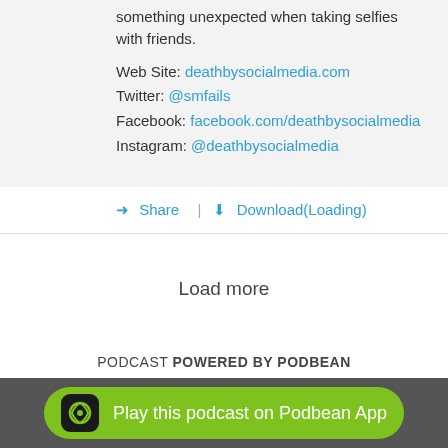something unexpected when taking selfies with friends.
Web Site: deathbysocialmedia.com
Twitter: @smfails
Facebook: facebook.com/deathbysocialmedia
Instagram: @deathbysocialmedia
Share | Download(Loading)
Load more
PODCAST POWERED BY PODBEAN
Play this podcast on Podbean App